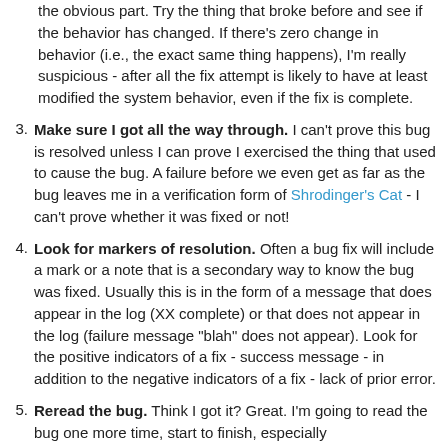(continuation of previous item) the obvious part. Try the thing that broke before and see if the behavior has changed. If there's zero change in behavior (i.e., the exact same thing happens), I'm really suspicious - after all the fix attempt is likely to have at least modified the system behavior, even if the fix is complete.
3. Make sure I got all the way through. I can't prove this bug is resolved unless I can prove I exercised the thing that used to cause the bug. A failure before we even get as far as the bug leaves me in a verification form of Shrodinger's Cat - I can't prove whether it was fixed or not!
4. Look for markers of resolution. Often a bug fix will include a mark or a note that is a secondary way to know the bug was fixed. Usually this is in the form of a message that does appear in the log (XX complete) or that does not appear in the log (failure message "blah" does not appear). Look for the positive indicators of a fix - success message - in addition to the negative indicators of a fix - lack of prior error.
5. Reread the bug. Think I got it? Great. I'm going to read the bug one more time, start to finish, especially